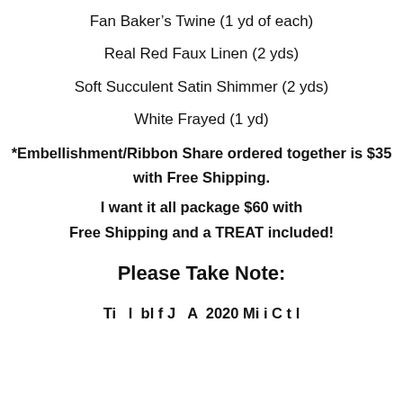Fan Baker's Twine (1 yd of each)
Real Red Faux Linen (2 yds)
Soft Succulent Satin Shimmer (2 yds)
White Frayed (1 yd)
*Embellishment/Ribbon Share ordered together is $35 with Free Shipping.
I want it all package $60 with Free Shipping and a TREAT included!
Please Take Note:
Ti l bl f J A 2020 Mi i C t l